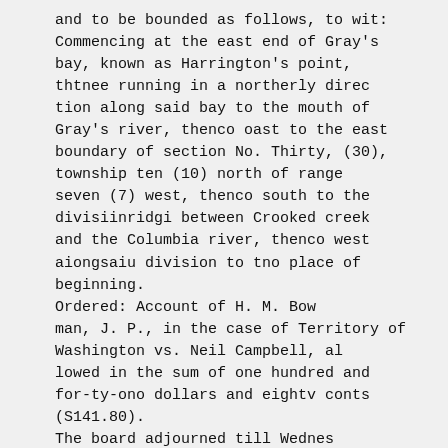and to be bounded as follows, to wit: Commencing at the east end of Gray's bay, known as Harrington's point, thtnee running in a northerly direc tion along said bay to the mouth of Gray's river, thenco oast to the east boundary of section No. Thirty, (30), township ten (10) north of range seven (7) west, thenco south to the divisiinridgi between Crooked creek and the Columbia river, thenco west aiongsaiu division to tno place of beginning.
Ordered: Account of H. M. Bow man, J. P., in the case of Territory of Washington vs. Neil Campbell, al lowed in the sum of one hundred and for-ty-ono dollars and eightv conts (S141.80).
The board adjourned till Wednes day, November 5, at 9 o'clock, a. m. commissioners' ooubt.
Cathlamet, Nov. 5, 1884.
Board met pursuant to adjourn